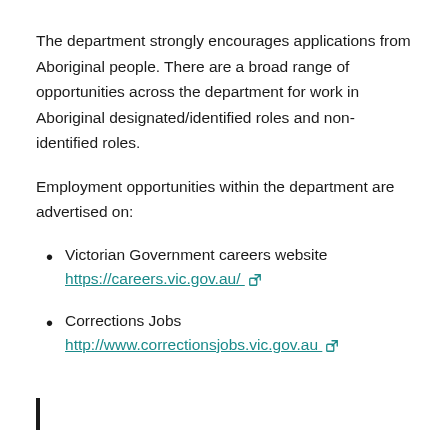The department strongly encourages applications from Aboriginal people. There are a broad range of opportunities across the department for work in Aboriginal designated/identified roles and non-identified roles.
Employment opportunities within the department are advertised on:
Victorian Government careers website https://careers.vic.gov.au/
Corrections Jobs http://www.correctionsjobs.vic.gov.au